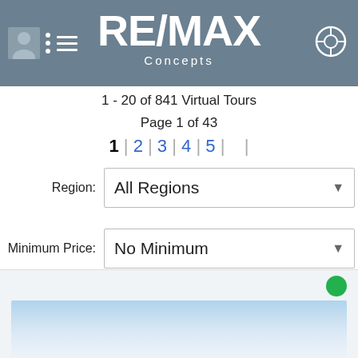RE/MAX Concepts
1 - 20 of 841 Virtual Tours
Page 1 of 43
1 | 2 | 3 | 4 | 5 | |
Region: All Regions
Minimum Price: No Minimum
Maximum Price: No Maximum
[Figure (screenshot): Tour image thumbnail with sky background]